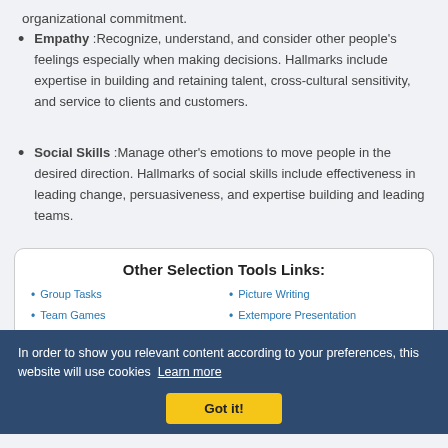organizational commitment.
Empathy :Recognize, understand, and consider other people's feelings especially when making decisions. Hallmarks include expertise in building and retaining talent, cross-cultural sensitivity, and service to clients and customers.
Social Skills :Manage other's emotions to move people in the desired direction. Hallmarks of social skills include effectiveness in leading change, persuasiveness, and expertise building and leading teams.
Other Selection Tools Links:
Group Tasks
Team Games
Resume Writing
Sample Resume
Picture Writing
Extempore Presentation
Extempore: Factual Topics
Extempore: Non-Factual Topics
In order to show you relevant content according to your preferences, this website will use cookies Learn more Got it!